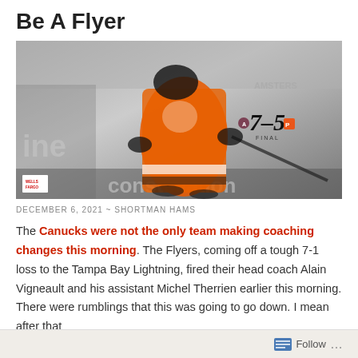Be A Flyer
[Figure (photo): Hockey player in orange Philadelphia Flyers jersey on ice, black and white background crowd, score overlay showing 7-5 FINAL with Avalanche and Flyers logos, Wells Fargo logo badge, partial text 'constellation' and 'ine' visible]
DECEMBER 6, 2021 ~ SHORTMAN HAMS
The Canucks were not the only team making coaching changes this morning. The Flyers, coming off a tough 7-1 loss to the Tampa Bay Lightning, fired their head coach Alain Vigneault and his assistant Michel Therrien earlier this morning. There were rumblings that this was going to go down. I mean after that